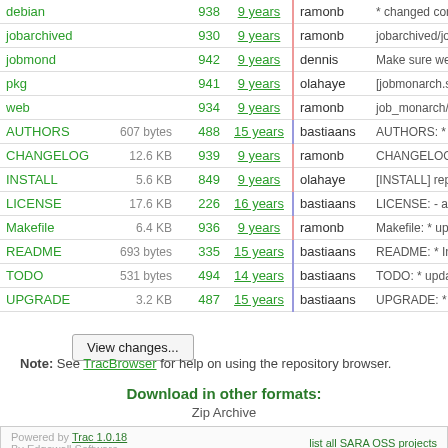| Name | Size | Rev | Age | Author | Last Change |
| --- | --- | --- | --- | --- | --- |
| debian |  | 938 | 9 years | ramonb | * changed cond… |
| jobarchived |  | 930 | 9 years | ramonb | jobarchived/joba… |
| jobmond |  | 942 | 9 years | dennis | Make sure we e… |
| pkg |  | 941 | 9 years | olahaye | [jobmonarch.spe… |
| web |  | 934 | 9 years | ramonb | job_monarch/te… |
| AUTHORS | 607 bytes | 488 | 15 years | bastiaans | AUTHORS: * up… |
| CHANGELOG | 12.6 KB | 939 | 9 years | ramonb | CHANGELOG: *… |
| INSTALL | 5.6 KB | 849 | 9 years | olahaye | [INSTALL] repla… |
| LICENSE | 17.6 KB | 226 | 16 years | bastiaans | LICENSE: - add… |
| Makefile | 6.4 KB | 936 | 9 years | ramonb | Makefile: * upda… |
| README | 693 bytes | 335 | 15 years | bastiaans | README: * Initi… |
| TODO | 531 bytes | 494 | 14 years | bastiaans | TODO: * update… |
| UPGRADE | 3.2 KB | 487 | 15 years | bastiaans | UPGRADE: * up… |
Note: See TracBrowser for help on using the repository browser.
Download in other formats:
Zip Archive
Powered by Trac 1.0.18 By Edgewall Software. | list all SARA OSS projects